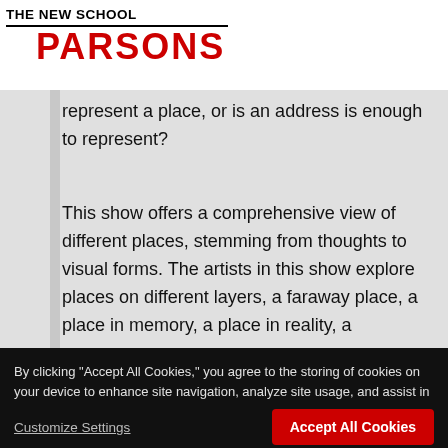THE NEW SCHOOL PARSONS
represent a place, or is an address is enough to represent?
This show offers a comprehensive view of different places, stemming from thoughts to visual forms. The artists in this show explore places on different layers, a faraway place, a place in memory, a place in reality, a
By clicking "Accept All Cookies," you agree to the storing of cookies on your device to enhance site navigation, analyze site usage, and assist in our marketing efforts.
Cookie Statement
Customize Settings
Accept All Cookies